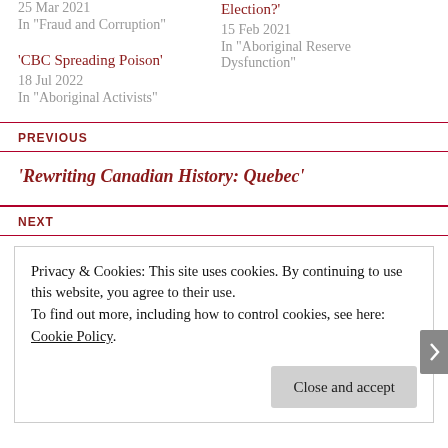25 Mar 2021
In "Fraud and Corruption"
Election?'
15 Feb 2021
In "Aboriginal Reserve Dysfunction"
'CBC Spreading Poison'
18 Jul 2022
In "Aboriginal Activists"
PREVIOUS
'Rewriting Canadian History: Quebec'
NEXT
Privacy & Cookies: This site uses cookies. By continuing to use this website, you agree to their use.
To find out more, including how to control cookies, see here: Cookie Policy
Close and accept